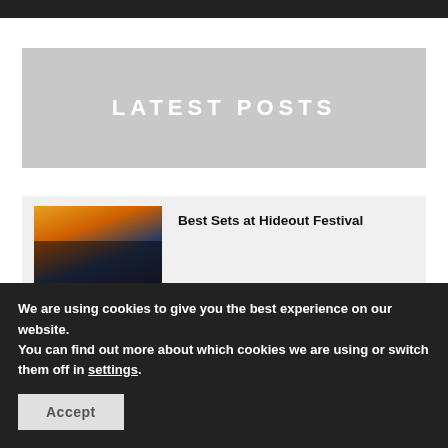[Figure (photo): Dark banner/image bar at the top of the page]
LATEST POSTS
[Figure (photo): Crowd at music festival with sunset light in background]
Best Sets at Hideout Festival
[Figure (photo): Person in a dark tunnel or corridor]
Premiere: Stoac – Reaching [Infinite Depth]
We are using cookies to give you the best experience on our website.
You can find out more about which cookies we are using or switch them off in settings.